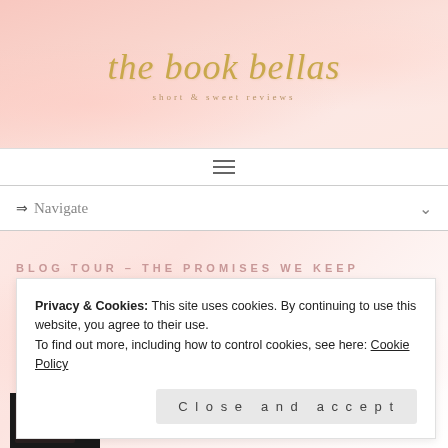the book bellas
short & sweet reviews
[Figure (screenshot): Navigation bar with hamburger menu icon]
[Figure (screenshot): Navigate dropdown with arrow and chevron]
BLOG TOUR – THE PROMISES WE KEEP
Privacy & Cookies: This site uses cookies. By continuing to use this website, you agree to their use.
To find out more, including how to control cookies, see here: Cookie Policy
[Figure (photo): Book cover image partially visible at bottom]